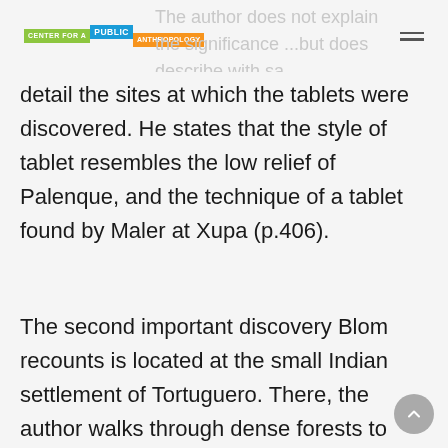Center for a Public Anthropology
detail the sites at which the tablets were discovered. He states that the style of tablet resembles the low relief of Palenque, and the technique of a tablet found by Maler at Xupa (p.406).
The second important discovery Blom recounts is located at the small Indian settlement of Tortuguero. There, the author walks through dense forests to discover broken pottery, fragments of ornaments, and limestone mounds. At these visible remains an ancient, densely populated settlement, he finds another tablet and a large monolith (or